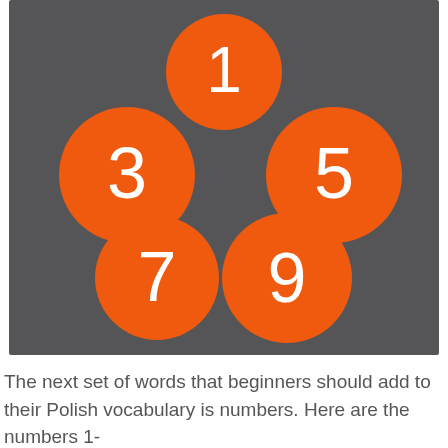[Figure (infographic): Five orange circles arranged in a pattern on a dark gray background, each containing a white odd number: 1 (top center), 3 (middle left), 5 (middle right), 7 (bottom left), 9 (bottom center-right).]
The next set of words that beginners should add to their Polish vocabulary is numbers. Here are the numbers 1-